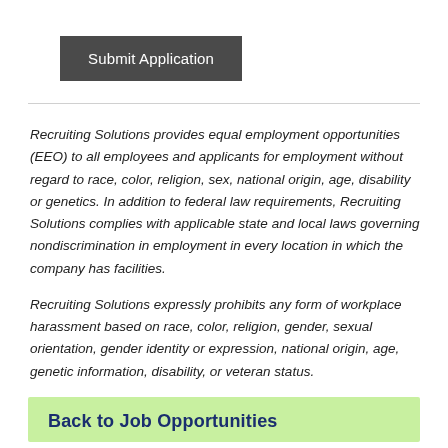Submit Application
Recruiting Solutions provides equal employment opportunities (EEO) to all employees and applicants for employment without regard to race, color, religion, sex, national origin, age, disability or genetics. In addition to federal law requirements, Recruiting Solutions complies with applicable state and local laws governing nondiscrimination in employment in every location in which the company has facilities.
Recruiting Solutions expressly prohibits any form of workplace harassment based on race, color, religion, gender, sexual orientation, gender identity or expression, national origin, age, genetic information, disability, or veteran status.
Back to Job Opportunities